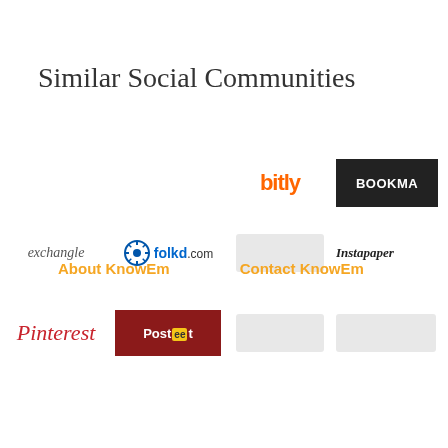Similar Social Communities
[Figure (logo): bitly logo in orange]
[Figure (logo): BOOKMARK logo on black background (partially visible)]
[Figure (logo): exchangle logo in grey italic text]
[Figure (logo): folkd.com logo with blue icon]
[Figure (logo): grey placeholder box]
[Figure (logo): Instapaper logo in bold italic (partially visible)]
[Figure (logo): Pinterest logo in red cursive]
[Figure (logo): Posteet logo on dark red background]
[Figure (logo): grey placeholder box]
[Figure (logo): grey placeholder box (partially visible)]
About KnowEm
Contact KnowEm